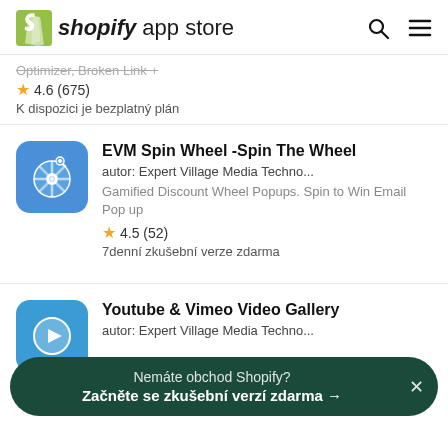shopify app store
Optimizer, Broken Link +
★ 4.6 (675)
K dispozici je bezplatný plán
[Figure (logo): EVM Spin Wheel app icon - blue rounded square with spinning wheel graphic]
EVM Spin Wheel -Spin The Wheel
autor: Expert Village Media Techno...
Gamified Discount Wheel Popups. Spin to Win Email Pop up
★ 4.5 (52)
7denní zkušební verze zdarma
[Figure (logo): Youtube & Vimeo Video Gallery app icon - blue rounded square with play button]
Youtube & Vimeo Video Gallery
autor: Expert Village Media Techno...
Nemáte obchod Shopify?
Začněte se zkušební verzí zdarma →
7denní zkušební verze zdarma